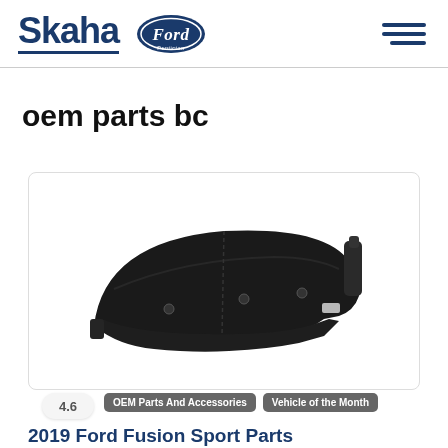Skaha Ford Penticton
oem parts bc
[Figure (photo): Black plastic automotive fender liner / splash guard part, shown against white background. It is a curved, crescent-shaped black plastic piece with mounting tabs and clips.]
4.6
OEM Parts And Accessories   Vehicle of the Month
2019 Ford Fusion Sport Parts